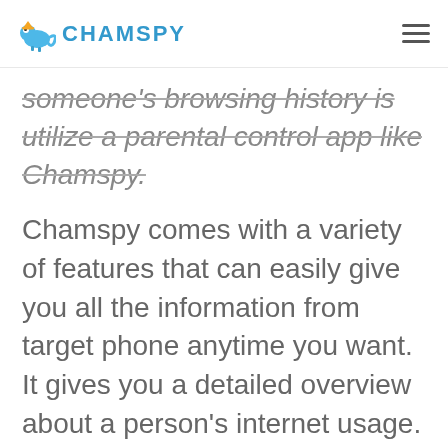CHAMSPY
someone's browsing history is utilize a parental control app like Chamspy.
Chamspy comes with a variety of features that can easily give you all the information from target phone anytime you want. It gives you a detailed overview about a person's internet usage. You can get specifics including the website URL, visit frequency, last visit time and whether it was bookmarked. Even if the person happens to clear his/her browsing history, you can still